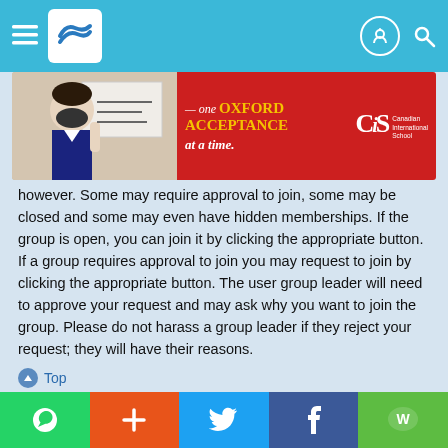Navigation bar with hamburger menu, logo, user icon, and search icon
[Figure (photo): Advertisement banner for CIS (Canadian International School) - one OXFORD ACCEPTANCE at a time. Shows a student wearing a mask.]
however. Some may require approval to join, some may be closed and some may even have hidden memberships. If the group is open, you can join it by clicking the appropriate button. If a group requires approval to join you may request to join by clicking the appropriate button. The user group leader will need to approve your request and may ask why you want to join the group. Please do not harass a group leader if they reject your request; they will have their reasons.
⌃ Top
How do I become a usergroup leader?
A usergroup leader is usually assigned when usergroups are initially created by a board administrator. If you are interested in creating a usergroup, your first point of contact should be an administrator; try sending a private message.
Social share bar: WhatsApp, Add, Twitter, Facebook, WeChat